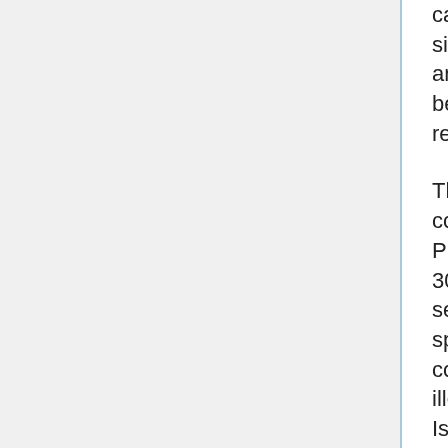capable to return to work and underneath what situations. Booking online shall be very straightforward and time saving. Overseas Secretary Dominic Raab can be deputizing on his behalf where crucial after being requested by the prime minister.
Things, in fact, don't occur in a vacuum, and as both men confirmed, it was the oft-repeated risk final yr by Israeli Prime Minister Binyamin Netanyahu to annex as much as 30% of the West Bank-together with all Jewish settlements and the strategic Jordan Valley-that finally spurred Abu Dhabi into action. A lot of the world considers settlements constructed on occupied land illegal below international law, a place Israel disputes. Israel tour packages can last